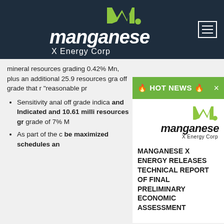[Figure (logo): Manganese X Energy Corp logo in white on dark navy header bar with hamburger menu icon]
mineral resources grading 0.42% Mn, plus an additional 25.9 resources gra off grade that r "reasonable pr
Sensitivity anal off grade indica and Indicated and 10.61 milli resources gr grade of 7% M
As part of the c be maximized schedules an
[Figure (infographic): HOT NEWS banner in green with flame icons, overlapping a popup card showing Manganese X Energy Corp logo and headline text]
MANGANESE X ENERGY RELEASES TECHNICAL REPORT OF FINAL PRELIMINARY ECONOMIC ASSESSMENT